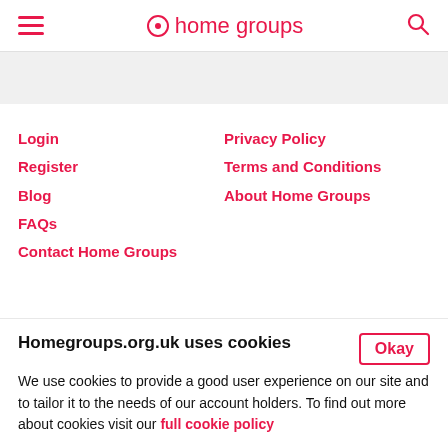home groups
Login
Register
Blog
FAQs
Contact Home Groups
Privacy Policy
Terms and Conditions
About Home Groups
Homegroups.org.uk uses cookies
We use cookies to provide a good user experience on our site and to tailor it to the needs of our account holders. To find out more about cookies visit our full cookie policy